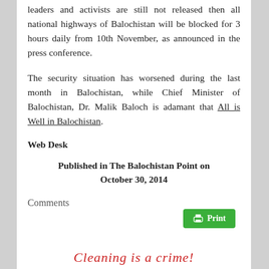leaders and activists are still not released then all national highways of Balochistan will be blocked for 3 hours daily from 10th November, as announced in the press conference.
The security situation has worsened during the last month in Balochistan, while Chief Minister of Balochistan, Dr. Malik Baloch is adamant that All is Well in Balochistan.
Web Desk
Published in The Balochistan Point on October 30, 2014
Comments
[Figure (other): Green Print button with printer icon]
Cleaning is a crime!